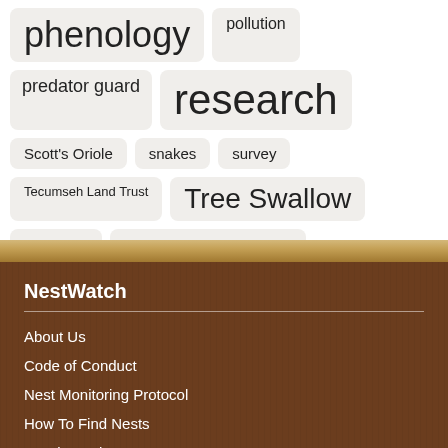phenology
pollution
predator guard
research
Scott's Oriole
snakes
survey
Tecumseh Land Trust
Tree Swallow
youth
Zooniverse
NestWatch
About Us
Code of Conduct
Nest Monitoring Protocol
How To Find Nests
Focal Species